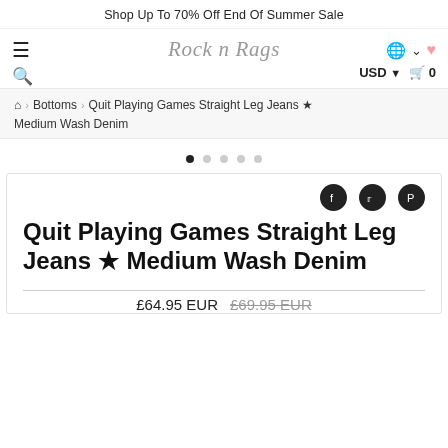Shop Up To 70% Off End Of Summer Sale
Rock n Rags (logo) | USD | Cart 0 | Globe | Heart
Home > Bottoms > Quit Playing Games Straight Leg Jeans ★ Medium Wash Denim
Quit Playing Games Straight Leg Jeans ★ Medium Wash Denim
£64.95 EUR  £69.95 EUR